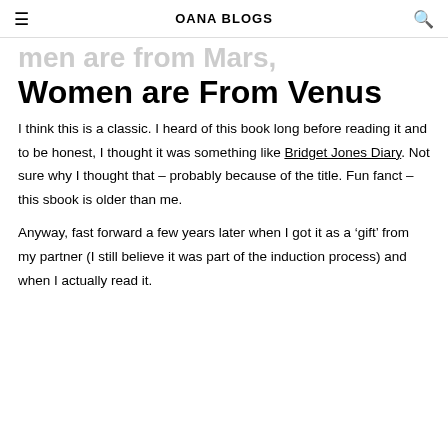OANA BLOGS
Men are From Mars, Women are From Venus
I think this is a classic. I heard of this book long before reading it and to be honest, I thought it was something like Bridget Jones Diary. Not sure why I thought that – probably because of the title. Fun fanct – this sbook is older than me.
Anyway, fast forward a few years later when I got it as a 'gift' from my partner (I still believe it was part of the induction process) and when I actually read it.